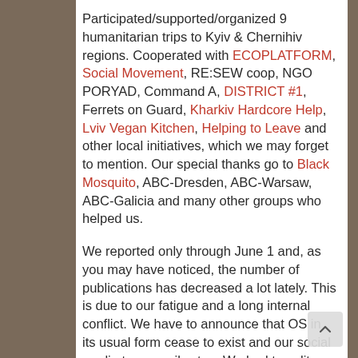Participated/supported/organized 9 humanitarian trips to Kyiv & Chernihiv regions. Cooperated with ECOPLATFORM, Social Movement, RE:SEW coop, NGO PORYAD, Command A, DISTRICT #1, Ferrets on Guard, Kharkiv Hardcore Help, Lviv Vegan Kitchen, Helping to Leave and other local initiatives, which we may forget to mention. Our special thanks go to Black Mosquito, ABC-Dresden, ABC-Warsaw, ABC-Galicia and many other groups who helped us.
We reported only through June 1 and, as you may have noticed, the number of publications has decreased a lot lately. This is due to our fatigue and a long internal conflict. We have to announce that OS in its usual form cease to exist and our social media temporarily stop. We had to split up and most of the remaining money (84%) was given to a new initiative, Solidarity Collectives. We recommend donating to them only if you are absolutely sure what your money will go to. The rest of sum (16%) is used for launching a new project. We want